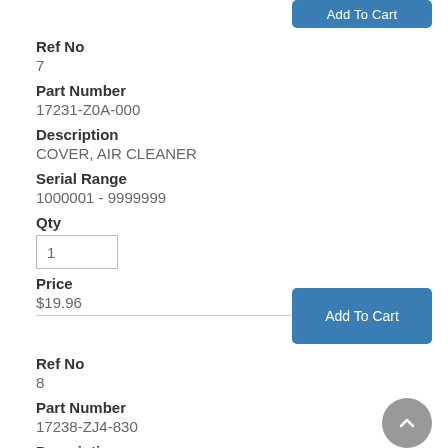Add To Cart
Ref No
7
Part Number
17231-Z0A-000
Description
COVER, AIR CLEANER
Serial Range
1000001 - 9999999
Qty
1
Price
$19.96
Add To Cart
Ref No
8
Part Number
17238-ZJ4-830
Description